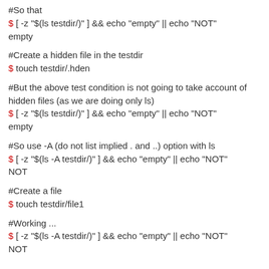#So that
$ [ -z "$(ls testdir/)" ] && echo "empty" || echo "NOT" empty
#Create a hidden file in the testdir
$ touch testdir/.hden
#But the above test condition is not going to take account of hidden files (as we are doing only ls)
$ [ -z "$(ls testdir/)" ] && echo "empty" || echo "NOT" empty
#So use -A (do not list implied . and ..) option with ls
$ [ -z "$(ls -A testdir/)" ] && echo "empty" || echo "NOT"
NOT
#Create a file
$ touch testdir/file1
#Working ...
$ [ -z "$(ls -A testdir/)" ] && echo "empty" || echo "NOT"
NOT